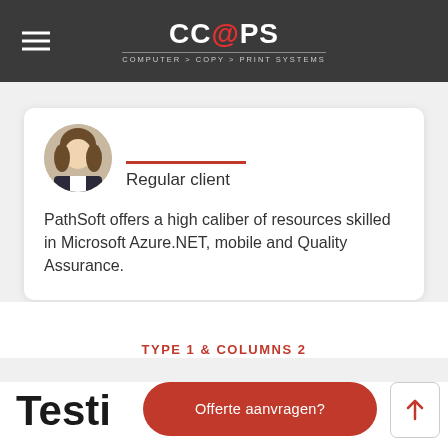CC@PS COMPUTER > COPY > PRINT SYSTEMS
Regular client
PathSoft offers a high caliber of resources skilled in Microsoft Azure.NET, mobile and Quality Assurance.
TYPE 1 & COLUMNS 2
Testi
Offerte aanvragen?